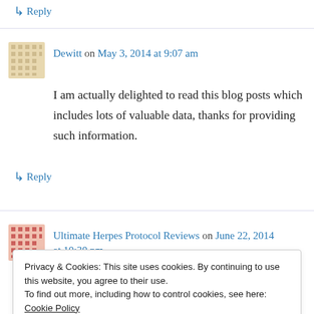↳ Reply
Dewitt on May 3, 2014 at 9:07 am
I am actually delighted to read this blog posts which includes lots of valuable data, thanks for providing such information.
↳ Reply
Ultimate Herpes Protocol Reviews on June 22, 2014 at 10:30 pm
Privacy & Cookies: This site uses cookies. By continuing to use this website, you agree to their use. To find out more, including how to control cookies, see here: Cookie Policy